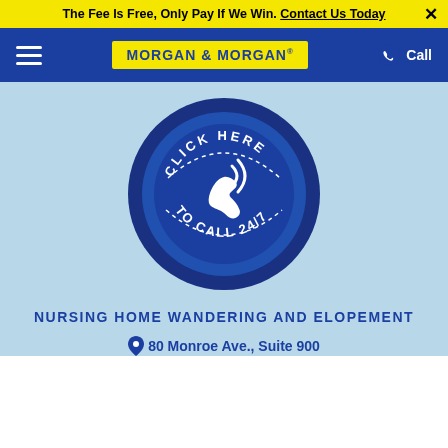The Fee Is Free, Only Pay If We Win. Contact Us Today
[Figure (logo): Morgan & Morgan law firm logo in yellow on blue navigation bar with hamburger menu and Call button]
[Figure (infographic): Dark blue circular button with white phone icon and curved text reading CLICK HERE TO CALL 24/7 on light blue background]
NURSING HOME WANDERING AND ELOPEMENT
80 Monroe Ave., Suite 900